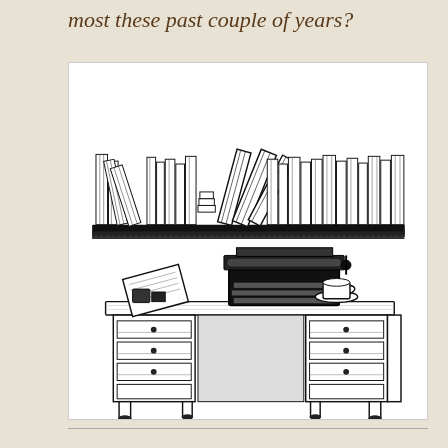most these past couple of years?
[Figure (illustration): Black and white illustration showing two classic images: on top, a bookshelf filled with many upright and leaning books; below, an antique wooden writing desk with a vintage typewriter on top, along with papers and a teacup.]